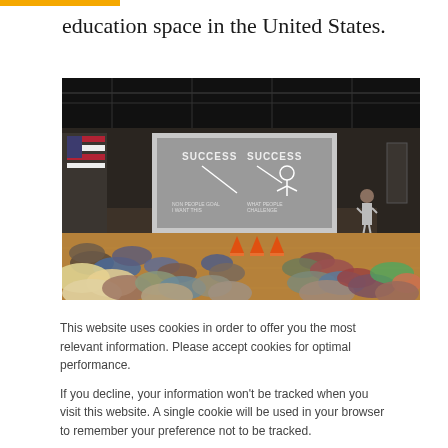education space in the United States.
[Figure (photo): School assembly in a gymnasium. Students are seated on the floor facing a projection screen showing 'SUCCESS' slides. A presenter stands at the right side of the stage.]
This website uses cookies in order to offer you the most relevant information. Please accept cookies for optimal performance.

If you decline, your information won't be tracked when you visit this website. A single cookie will be used in your browser to remember your preference not to be tracked.